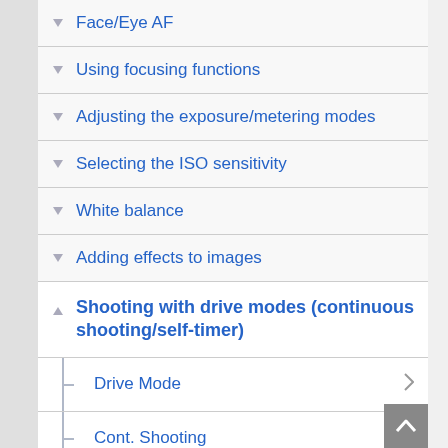Face/Eye AF
Using focusing functions
Adjusting the exposure/metering modes
Selecting the ISO sensitivity
White balance
Adding effects to images
Shooting with drive modes (continuous shooting/self-timer)
Drive Mode
Cont. Shooting
Self-timer(Single)